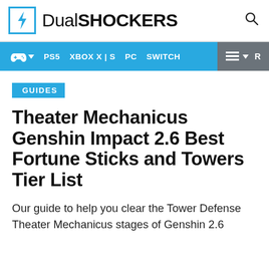DualSHOCKERS
PS5  XBOX X | S  PC  SWITCH
GUIDES
Theater Mechanicus Genshin Impact 2.6 Best Fortune Sticks and Towers Tier List
Our guide to help you clear the Tower Defense Theater Mechanicus stages of Genshin 2.6